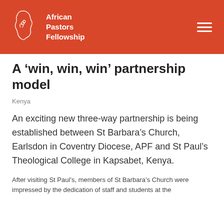[Figure (logo): African Pastors Fellowship logo with Africa continent icon and hamburger menu icon on orange/red header bar]
A ‘win, win, win’ partnership model
Kenya
An exciting new three-way partnership is being established between St Barbara’s Church, Earlsdon in Coventry Diocese, APF and St Paul’s Theological College in Kapsabet, Kenya.
After visiting St Paul’s, members of St Barbara’s Church were impressed by the dedication of staff and students at the